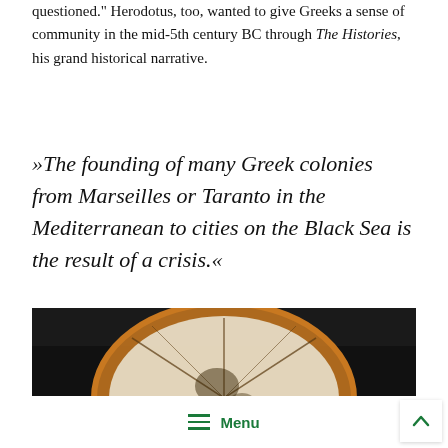questioned." Herodotus, too, wanted to give Greeks a sense of community in the mid-5th century BC through The Histories, his grand historical narrative.
»The founding of many Greek colonies from Marseilles or Taranto in the Mediterranean to cities on the Black Sea is the result of a crisis.«
MARTIN ZIMMERMANN
[Figure (photo): Close-up photograph of a circular ancient Greek artifact (possibly a shield or plate) with geometric line decorations, against a dark background.]
Menu